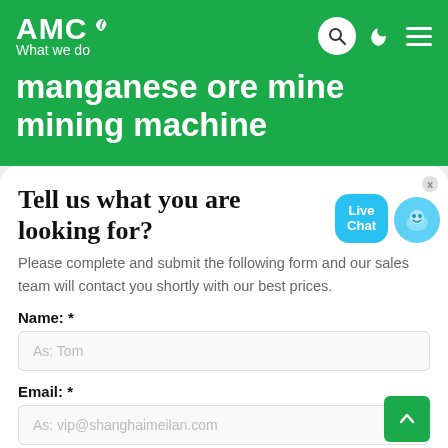AMC What we do
manganese ore mine mining machine
Tell us what you are looking for?
Please complete and submit the following form and our sales team will contact you shortly with our best prices.
Name: *
As: Tom
Email: *
As: vip@shanghaimeilan.com
Phone: *